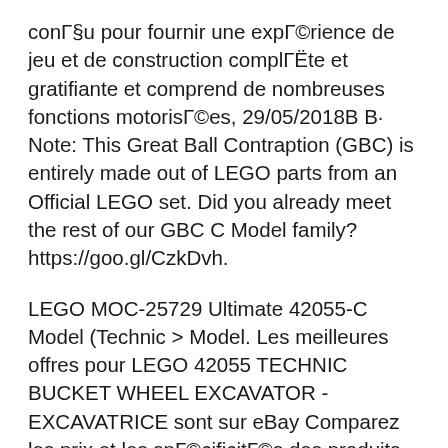conçu pour fournir une expérience de jeu et de construction complète et gratifiante et comprend de nombreuses fonctions motorisées, 29/05/2018В В· Note: This Great Ball Contraption (GBC) is entirely made out of LEGO parts from an Official LEGO set. Did you already meet the rest of our GBC C Model family? https://goo.gl/CzkDvh.
LEGO MOC-25729 Ultimate 42055-C Model (Technic > Model. Les meilleures offres pour LEGO 42055 TECHNIC BUCKET WHEEL EXCAVATOR - EXCAVATRICE sont sur eBay Comparez les prix et les spécificités des produits neufs et вЅ¦ Visitez eBay pour une grande sélection de lego technic 42055.